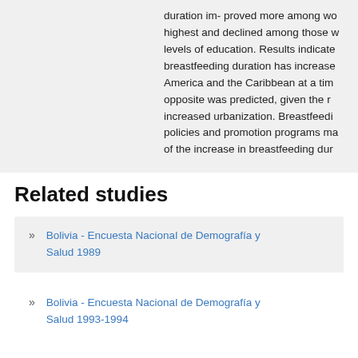duration im- proved more among wo highest and declined among those w levels of education. Results indicate breastfeeding duration has increase America and the Caribbean at a tim opposite was predicted, given the r increased urbanization. Breastfeedi policies and promotion programs ma of the increase in breastfeeding dur
Related studies
Bolivia - Encuesta Nacional de Demografía y Salud 1989
Bolivia - Encuesta Nacional de Demografía y Salud 1993-1994